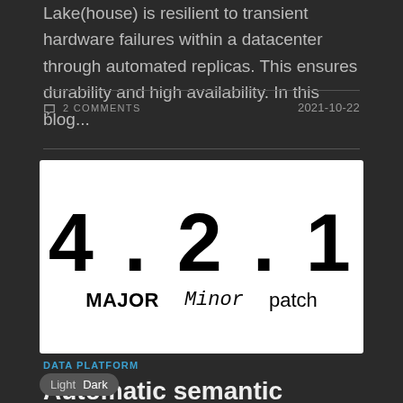Lake(house) is resilient to transient hardware failures within a datacenter through automated replicas. This ensures durability and high availability. In this blog...
2 COMMENTS  2021-10-22
[Figure (infographic): Semantic versioning diagram showing large numbers '4 . 2 . 1' with labels MAJOR (bold), Minor (italic monospace), patch (regular) on a white background.]
DATA PLATFORM
Automatic semantic versioning